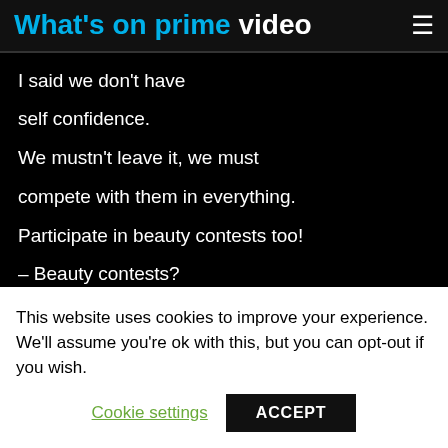What's on prime video
I said we don't have
self confidence.
We mustn't leave it, we must
compete with them in everything.
Participate in beauty contests too!
– Beauty contests?
Beauty contest?
This website uses cookies to improve your experience. We'll assume you're ok with this, but you can opt-out if you wish.
Cookie settings
ACCEPT